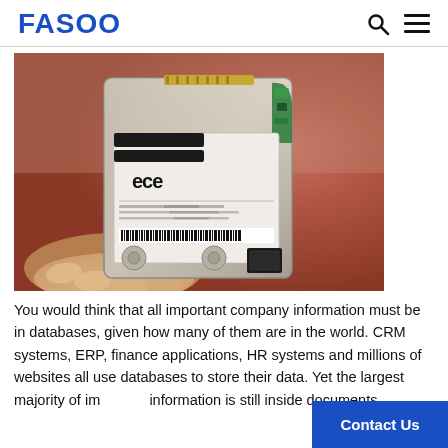FASOO
[Figure (photo): A person holding a laptop hard disk drive (HDD) showing its label side with CE marking and other technical labels. A blurred face is visible in the background.]
You would think that all important company information must be in databases, given how many of them are in the world.  CRM systems, ERP, finance applications, HR systems and millions of websites all use databases to store their data.  Yet the largest majority of important information is still inside documents.